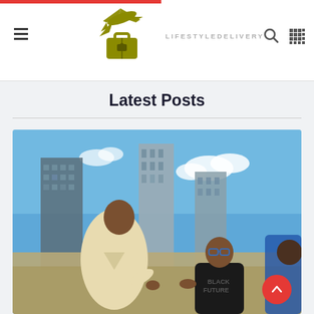LifestyleDelivery — site header with logo, hamburger menu, search and QR icons
Latest Posts
[Figure (photo): An older man in a beige/cream suit leaning down to shake hands or greet a young boy wearing glasses and a black 'Black Future' t-shirt, with a city skyline (tall skyscrapers) and blue sky in the background.]